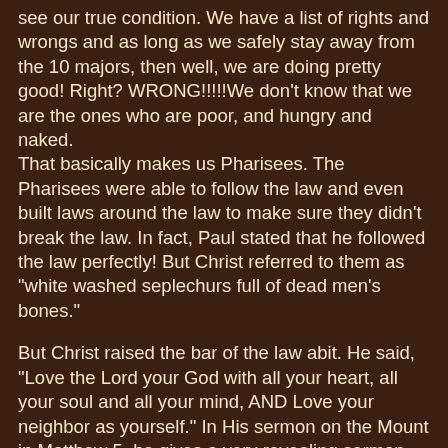see our true condition. We have a list of rights and wrongs and as long as we safely stay away from the 10 majors, then well, we are doing pretty good! Right? WRONG!!!!!We don't know that we are the ones who are poor, and hungry and naked. That basically makes us Pharisees. The Pharisees were able to follow the law and even built laws around the law to make sure they didn't break the law. In fact, Paul stated that he followed the law perfectly! But Christ referred to them as "white washed seplechurs full of dead men's bones."
But Christ raised the bar of the law abit. He said, "Love the Lord your God with all your heart, all your soul and all your mind, AND Love your neighbor as yourself." In His sermon on the Mount in Matthew 5, he gives a very revealing sermon on what His desire is for us. "Love your enemy", turn the other cheek, if somebody takes your coat, give him your sweater as well."
For those who do talk to others who are struggling: Are we applying Christ's words? Are we loving that person as we would love ourselves. Are we treating them as we would